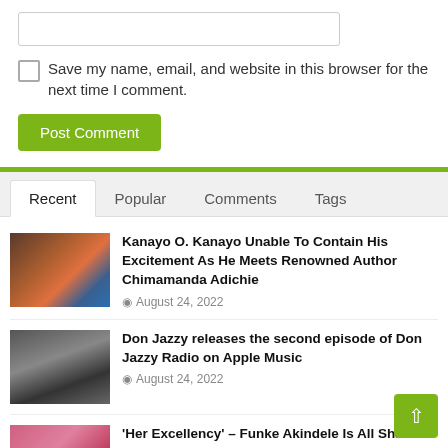[Figure (screenshot): URL/website text input field]
Save my name, email, and website in this browser for the next time I comment.
Post Comment
Recent  Popular  Comments  Tags
[Figure (photo): Thumbnail photo of Kanayo O. Kanayo meeting Chimamanda Adichie]
Kanayo O. Kanayo Unable To Contain His Excitement As He Meets Renowned Author Chimamanda Adichie
August 24, 2022
[Figure (photo): Thumbnail photo of Don Jazzy]
Don Jazzy releases the second episode of Don Jazzy Radio on Apple Music
August 24, 2022
[Figure (photo): Thumbnail photo of Funke Akindele in pink outfit]
'Her Excellency' – Funke Akindele Is All Shades Of Beauty As She Clocks 45 In Style (Photos)
August 24, 2022